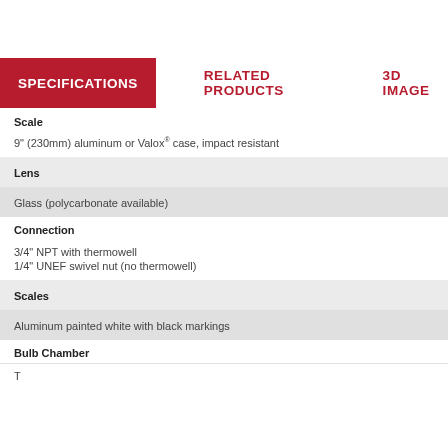SPECIFICATIONS
RELATED PRODUCTS
3D IMAGE
Scale
9" (230mm) aluminum or Valox® case, impact resistant
Lens
Glass (polycarbonate available)
Connection
3/4" NPT with thermowell
1/4" UNEF swivel nut (no thermowell)
Scales
Aluminum painted white with black markings
Bulb Chamber